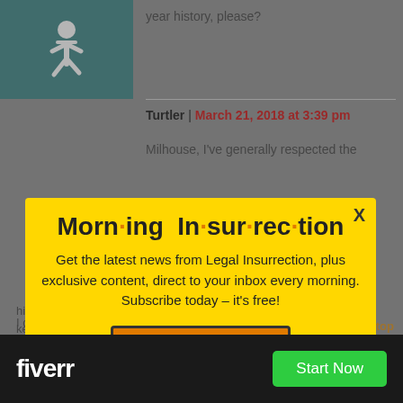year history, please?
Turtler | March 21, 2018 at 3:39 pm
Milhouse, I've generally respected the
[Figure (infographic): Morning Insurrection newsletter popup modal with yellow background, title 'Morn·ing In·sur·rec·tion', subscription text, and orange JOIN NOW button]
history does *NOT* seem to be you-ken.
Back to top
[Figure (infographic): Fiverr advertisement bar with black background, fiverr logo in white and green Start Now button]
I don't think anybody is about to